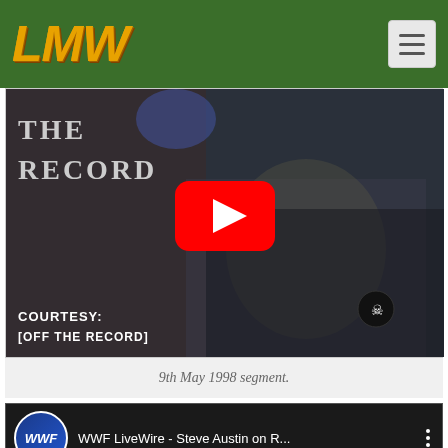LMW
[Figure (screenshot): YouTube video thumbnail showing a man in a dark shirt with skull badge, with text 'THE RECORD' and 'COURTESY: [OFF THE RECORD]' overlay, with YouTube play button overlay]
9th May 1998 segment.
[Figure (screenshot): YouTube video embed showing WWF LiveWire - Steve Austin on R... with WWF logo, video title bar, and black video area]